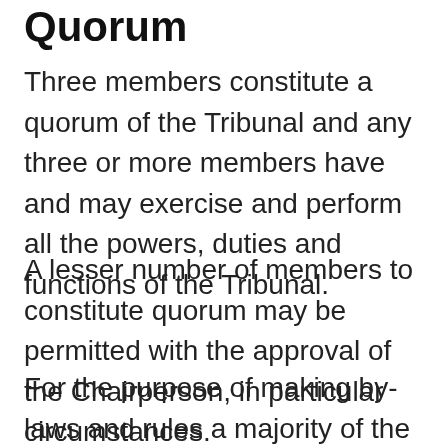Quorum
Three members constitute a quorum of the Tribunal and any three or more members have and may exercise and perform all the powers, duties and functions of the Tribunal.
A lesser number of members to constitute quorum may be permitted with the approval of the Chairperson, in particular circumstances.
For the purpose of making by-laws and rules a majority of the permanent members in office shall constitute a quorum of the